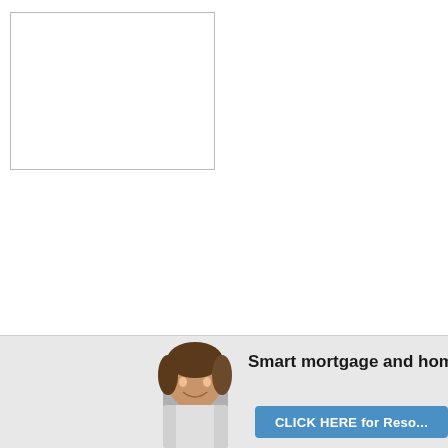[Figure (other): Empty white rectangle with thin border, likely a placeholder for an image or chart]
[Figure (illustration): Bottom banner with a woman smiling, bold text 'Smart mortgage and home eq...' and a blue 'CLICK HERE for Reso...' button on a light gray background]